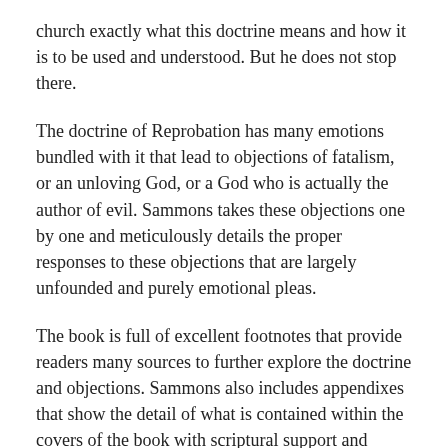church exactly what this doctrine means and how it is to be used and understood. But he does not stop there.
The doctrine of Reprobation has many emotions bundled with it that lead to objections of fatalism, or an unloving God, or a God who is actually the author of evil. Sammons takes these objections one by one and meticulously details the proper responses to these objections that are largely unfounded and purely emotional pleas.
The book is full of excellent footnotes that provide readers many sources to further explore the doctrine and objections. Sammons also includes appendixes that show the detail of what is contained within the covers of the book with scriptural support and arguments. Also included are topics and areas for further study as you go deeper into this doctrine and the doctrines that connect to